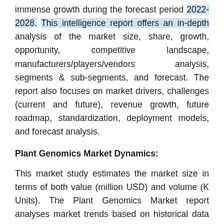immense growth during the forecast period 2022-2028. This intelligence report offers an in-depth analysis of the market size, share, growth, opportunity, competitive landscape, manufacturers/players/vendors analysis, segments & sub-segments, and forecast. The report also focuses on market drivers, challenges (current and future), revenue growth, future roadmap, standardization, deployment models, and forecast analysis.
Plant Genomics Market Dynamics:
This market study estimates the market size in terms of both value (million USD) and volume (K Units). The Plant Genomics Market report analyses market trends based on historical data and the latest developments. It provides both qualitative and